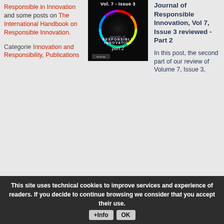Responsible in Innovation and some posts on The International Handbook on Responsible Innovation.
Categorie Innovation and Responsibility, Publications
[Figure (illustration): Journal of Responsible Innovation Vol. 7 - Issue 3, part 2 cover image with colorful circular design on dark background]
Journal of Responsible Innovation, Vol 7, Issue 3 reviewed - Part 2
In this post, the second part of our review of Volume 7, Issue 3,
This site uses technical cookies to improve services and experience of readers. If you decide to continue browsing we consider that you accept their use.